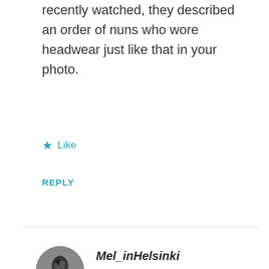recently watched, they described an order of nuns who wore headwear just like that in your photo.
★ Like
REPLY
Mel_inHelsinki
AUGUST 3, 2015 AT 6:58 AM
So interesting, it's really striking headwear. Thanks for sharing
[Figure (photo): Circular avatar photo of a person, black and white, shown from shoulders up]